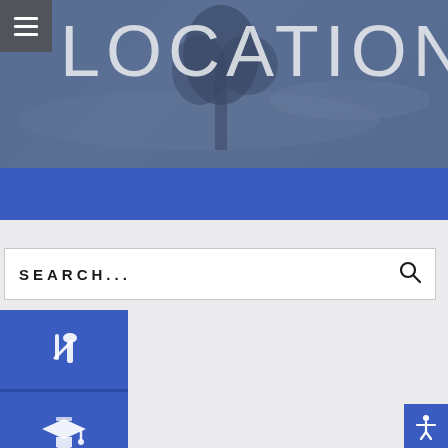[Figure (screenshot): Website header with blurred coastal/landscape background photo, overlaid with semi-transparent blue-grey tint. Hamburger menu icon in top-left grey box. Large 'LOCATION' text in light grey overlaid on the hero image.]
LOCATION
[Figure (infographic): Blue navigation bar below hero image]
SEARCH...
[Figure (infographic): Left sidebar with three blue icon buttons: paint/cutlery brush icon, graduation cap icon, fork and knife icon]
[Figure (infographic): Accessibility icon button in bottom right corner]